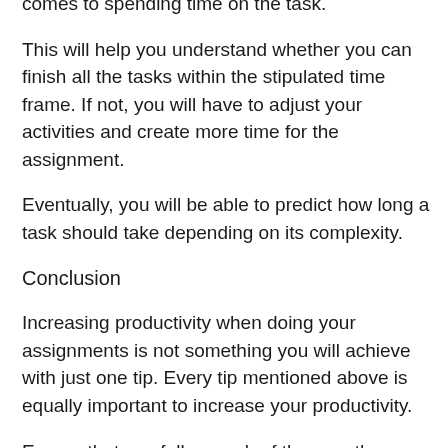comes to spending time on the task.
This will help you understand whether you can finish all the tasks within the stipulated time frame. If not, you will have to adjust your activities and create more time for the assignment.
Eventually, you will be able to predict how long a task should take depending on its complexity.
Conclusion
Increasing productivity when doing your assignments is not something you will achieve with just one tip. Every tip mentioned above is equally important to increase your productivity.
Ensure that you follow each of them as there are lots of challenges that may limit how you do your tasks. The most important thing is to plan, which includes setting priorities